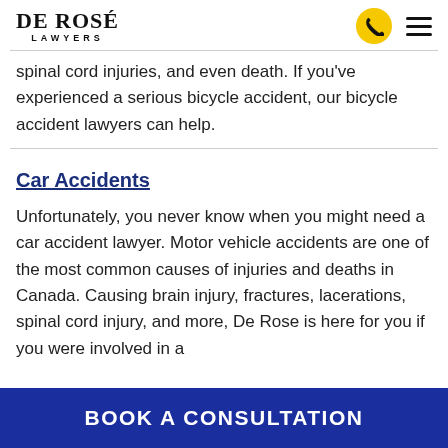De Rose Lawyers
spinal cord injuries, and even death. If you've experienced a serious bicycle accident, our bicycle accident lawyers can help.
Car Accidents
Unfortunately, you never know when you might need a car accident lawyer. Motor vehicle accidents are one of the most common causes of injuries and deaths in Canada. Causing brain injury, fractures, lacerations, spinal cord injury, and more, De Rose is here for you if you were involved in a
BOOK A CONSULTATION